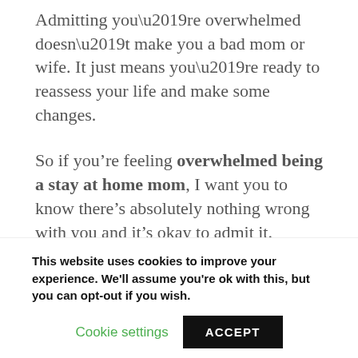Admitting you’re overwhelmed doesn’t make you a bad mom or wife. It just means you’re ready to reassess your life and make some changes.
So if you’re feeling overwhelmed being a stay at home mom, I want you to know there’s absolutely nothing wrong with you and it’s okay to admit it.
If you are tired of your current situation, it’s
This website uses cookies to improve your experience. We'll assume you're ok with this, but you can opt-out if you wish.
Cookie settings   ACCEPT